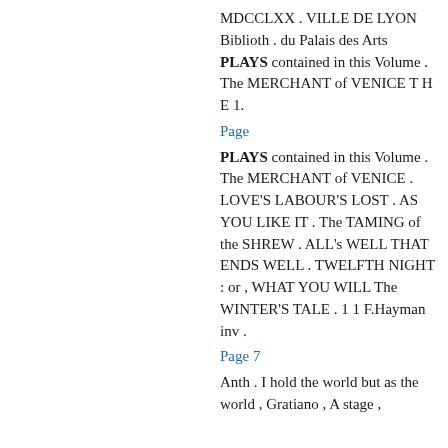MDCCLXX . VILLE DE LYON Biblioth . du Palais des Arts PLAYS contained in this Volume . The MERCHANT of VENICE T H E 1.
Page
PLAYS contained in this Volume . The MERCHANT of VENICE . LOVE'S LABOUR'S LOST . AS YOU LIKE IT . The TAMING of the SHREW . ALL's WELL THAT ENDS WELL . TWELFTH NIGHT : or , WHAT YOU WILL The WINTER'S TALE . 1 1 F.Hayman inv .
Page 7
Anth . I hold the world but as the world , Gratiano , A stage ,